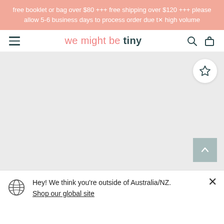free booklet or bag over $80 +++ free shipping over $120 +++ please allow 5-6 business days to process order due to high volume
[Figure (screenshot): Website navigation bar with hamburger menu, 'we might be tiny' logo in salmon and teal, search icon, and bag icon]
[Figure (photo): Large grey placeholder hero image area with a white circular wishlist/star button in the top right and a teal scroll-to-top arrow button in the bottom right]
Hey! We think you're outside of Australia/NZ. Shop our global site